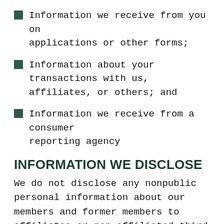Information we receive from you on applications or other forms;
Information about your transactions with us, affiliates, or others; and
Information we receive from a consumer reporting agency
INFORMATION WE DISCLOSE
We do not disclose any nonpublic personal information about our members and former members to affiliates or non-affiliated third parties except as required by law.
OUR SECURITY MEASURES